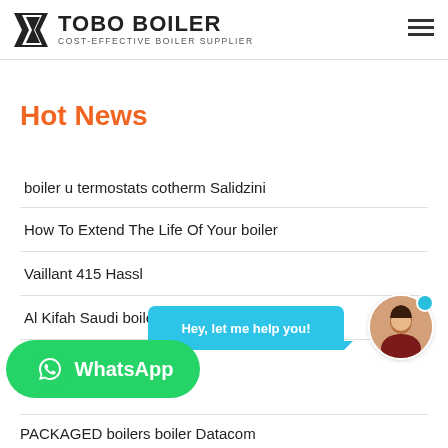TOBO BOILER — COST-EFFECTIVE BOILER SUPPLIER
Hot News
boiler u termostats cotherm Salidzini
How To Extend The Life Of Your boiler
Vaillant 415 Hassl
Al Kifah Saudi boiler
PACKAGED boilers boiler Datacom